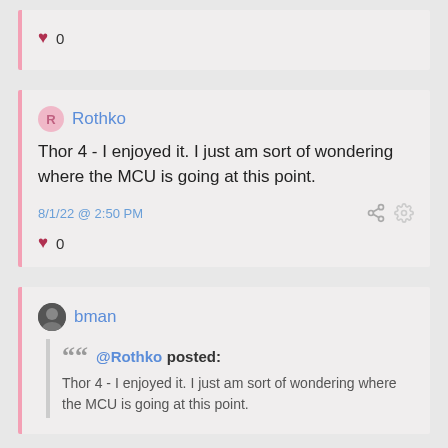♥ 0
Rothko
Thor 4 - I enjoyed it.  I just am sort of wondering where the MCU is going at this point.
8/1/22 @ 2:50 PM
♥ 0
bman
@Rothko posted:
Thor 4 - I enjoyed it.  I just am sort of wondering where the MCU is going at this point.